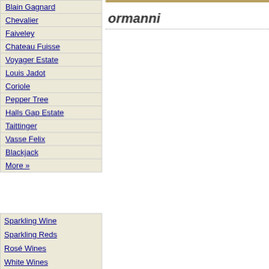Blain Gagnard
Chevalier
Faiveley
Chateau Fuisse
Voyager Estate
Louis Jadot
Coriole
Pepper Tree
Halls Gap Estate
Taittinger
Vasse Felix
Blackjack
More »
ormanni
Sparkling Wine
Sparkling Reds
Rosé Wines
White Wines
Red Wines
Dessert Wines
Fortified Wines
Cellared and Vintage Wines
French Champagnes